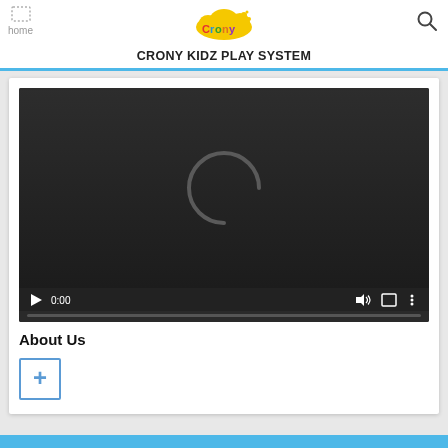CRONY KIDZ PLAY SYSTEM
[Figure (screenshot): Video player showing a loading spinner (letter C arc) on dark background, with playback controls showing 0:00 timestamp]
About Us
[Figure (other): Blue plus (+) button icon in a square border]